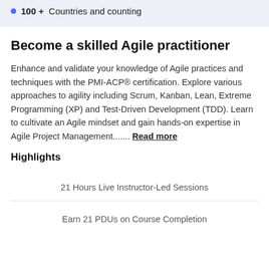100 +  Countries and counting
Become a skilled Agile practitioner
Enhance and validate your knowledge of Agile practices and techniques with the PMI-ACP® certification. Explore various approaches to agility including Scrum, Kanban, Lean, Extreme Programming (XP) and Test-Driven Development (TDD). Learn to cultivate an Agile mindset and gain hands-on expertise in Agile Project Management....... Read more
Highlights
21 Hours Live Instructor-Led Sessions
Earn 21 PDUs on Course Completion